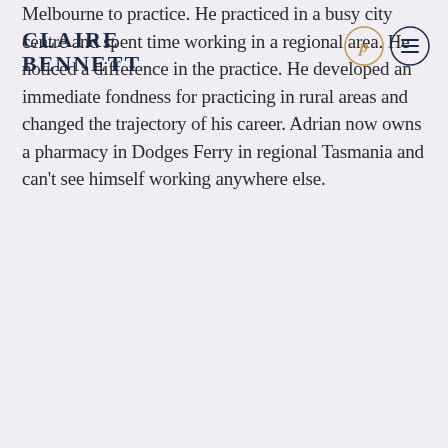CLAIRE BENNETT
Melbourne to practice. He practiced in a busy city centre and spent time working in a regional area. He noticed a difference in the practice. He developed an immediate fondness for practicing in rural areas and changed the trajectory of his career. Adrian now owns a pharmacy in Dodges Ferry in regional Tasmania and can't see himself working anywhere else.